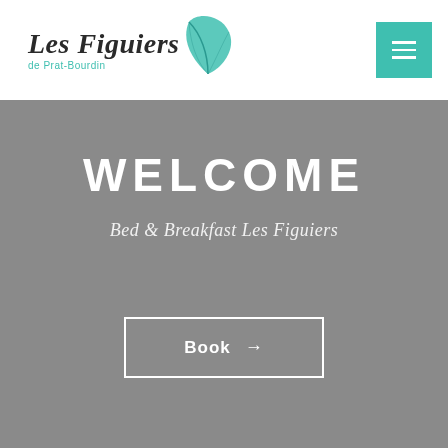Les Figuiers de Prat-Bourdin — navigation header with logo and hamburger menu
WELCOME
Bed & Breakfast Les Figuiers
Book →